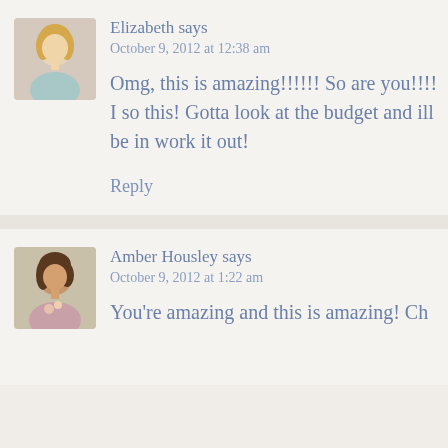[Figure (photo): Avatar photo of Elizabeth, a blonde woman]
Elizabeth says
October 9, 2012 at 12:38 am
Omg, this is amazing!!!!!! So are you!!!! I so this! Gotta look at the budget and ill be in work it out!
Reply
[Figure (photo): Avatar photo of Amber Housley, a brunette woman holding flowers]
Amber Housley says
October 9, 2012 at 1:22 am
You're amazing and this is amazing! Ch...